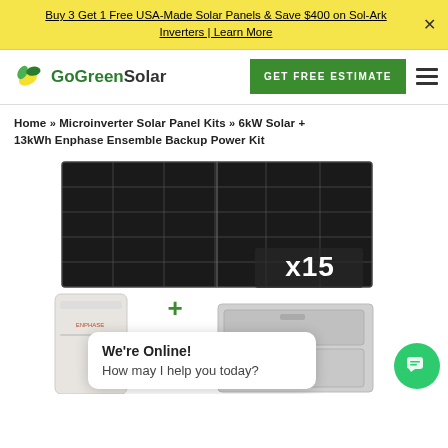Buy 3 Get 1 Free USA-Made Solar Panels & Save $400 on Sol-Ark Inverters | Learn More
[Figure (logo): GoGreenSolar logo with green leaf graphic]
GET FREE ESTIMATE
HOME » Microinverter Solar Panel Kits » 6kW Solar + 13kWh Enphase Ensemble Backup Power Kit
[Figure (photo): Solar panel kit product image showing 15 solar panels (x15 label) with Enphase battery storage unit and additional battery/inverter hardware below, plus sign between components]
We're Online! How may I help you today?